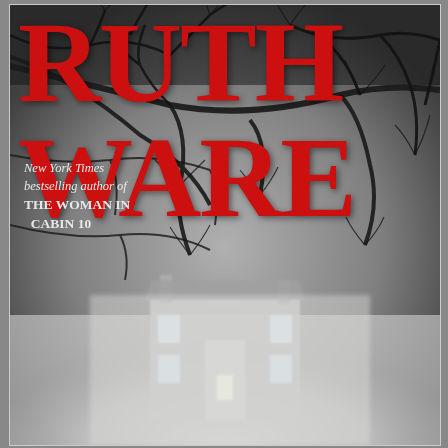[Figure (illustration): Book cover for a Ruth Ware novel. Dark, moody black and white photograph of bare winter tree branches against a grey sky, with a large, lit Georgian-style mansion visible through the fog in the lower half. Large red serif text reads 'RUTH WARE' at the top. Below and left of the title, white italic text reads 'New York Times bestselling author of' followed by bold white text 'THE WOMAN IN CABIN 10'.]